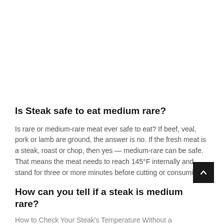Is Steak safe to eat medium rare?
Is rare or medium-rare meat ever safe to eat? If beef, veal, pork or lamb are ground, the answer is no. If the fresh meat is a steak, roast or chop, then yes — medium-rare can be safe. That means the meat needs to reach 145°F internally and stand for three or more minutes before cutting or consuming.
How can you tell if a steak is medium rare?
How to Check Your Steak's Temperature Without a